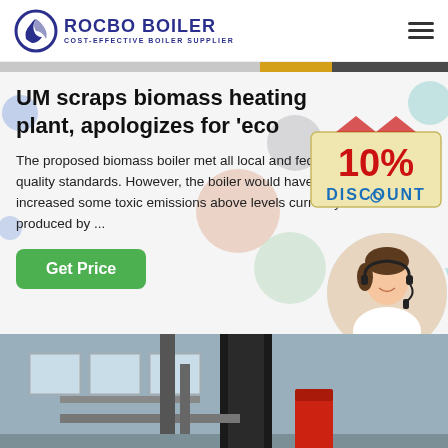ROCBO BOILER — COST-EFFECTIVE BOILER SUPPLIER
UM scraps biomass heating plant, apologizes for 'eco
The proposed biomass boiler met all local and federal air quality standards. However, the boiler would have increased some toxic emissions above levels currently produced by ...
[Figure (photo): 10% Discount badge overlay graphic]
[Figure (photo): Customer service representative with headset, circular photo]
[Figure (photo): Industrial boiler room interior with large black chimney stack and red cylinder]